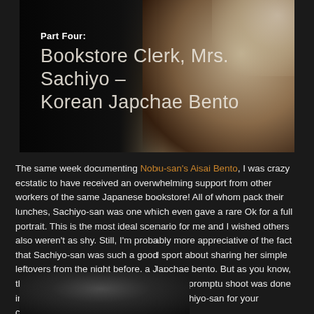[Figure (photo): Photo of a bento meal being held with text overlay: 'Part Four: Bookstore Clerk, Mrs. Sachiyo – Korean Japchae Bento']
The same week documenting Nobu-san's Aisai Bento, I was crazy ecstatic to have received an overwhelming support from other workers of the same Japanese bookstore! All of whom pack their lunches, Sachiyo-san was one which even gave a rare Ok for a full portrait. This is the most ideal scenario for me and I wished others also weren't as shy. Still, I'm probably more appreciative of the fact that Sachiyo-san was such a good sport about sharing her simple leftovers from the night before, a Japchae bento. But as you know, this was exactly what I wanted and the impromptu shoot was done in the side break room. Thanks again Sachiyo-san for your cooperation!!
[Figure (photo): Partial photo at bottom of page, dark toned]